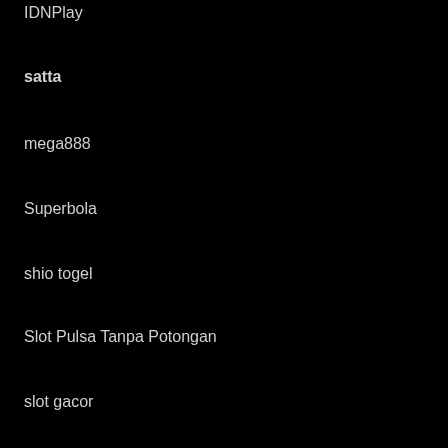IDNPlay
satta
mega888
Superbola
shio togel
Slot Pulsa Tanpa Potongan
slot gacor